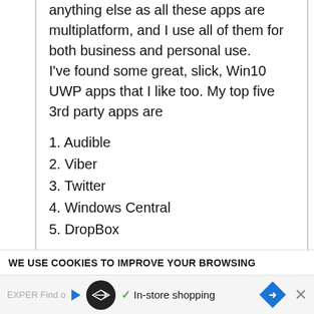anything else as all these apps are multiplatform, and I use all of them for both business and personal use.
I've found some great, slick, Win10 UWP apps that I like too. My top five 3rd party apps are
1. Audible
2. Viber
3. Twitter
4. Windows Central
5. DropBox
All are elegant, fast and fluid. Somehow, they manage to keep the soul of what made WP7 refreshing.
WE USE COOKIES TO IMPROVE YOUR BROWSING
In-store shopping